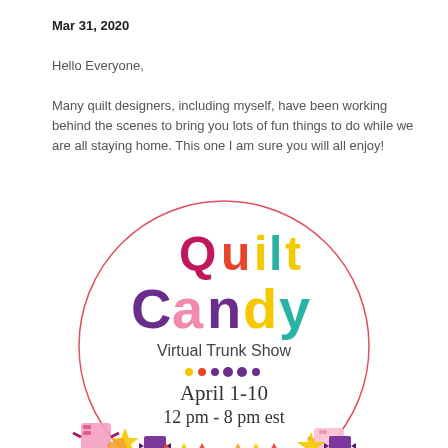Mar 31, 2020
Hello Everyone,
Many quilt designers, including myself, have been working behind the scenes to bring you lots of fun things to do while we are all staying home.  This one I am sure you will all enjoy!
[Figure (logo): Quilt Candy Virtual Trunk Show circular logo with colorful text and candy illustrations. Shows 'Quilt Candy Virtual Trunk Show April 1-10 12 pm - 8 pm est' inside a circle with a red border and candy decorations around the bottom.]